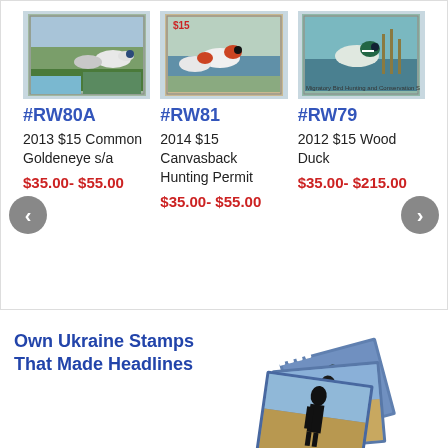[Figure (photo): Duck stamp product listing for #RW80A - 2013 $15 Common Goldeneye s/a stamp image]
#RW80A
2013 $15 Common Goldeneye s/a
$35.00- $55.00
[Figure (photo): Duck stamp product listing for #RW81 - 2014 $15 Canvasback Hunting Permit stamp image]
#RW81
2014 $15 Canvasback Hunting Permit
$35.00- $55.00
[Figure (photo): Duck stamp product listing for #RW79 - 2012 $15 Wood Duck stamp image]
#RW79
2012 $15 Wood Duck
$35.00- $215.00
Own Ukraine Stamps That Made Headlines
[Figure (photo): Ukraine stamps showing soldier silhouette designs fanned out]